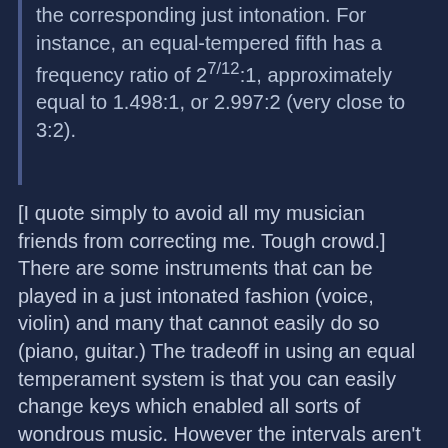the corresponding just intonation. For instance, an equal-tempered fifth has a frequency ratio of 27/12:1, approximately equal to 1.498:1, or 2.997:2 (very close to 3:2).
[I quote simply to avoid all my musician friends from correcting me. Tough crowd.] There are some instruments that can be played in a just intonated fashion (voice, violin) and many that cannot easily do so (piano, guitar.) The tradeoff in using an equal temperament system is that you can easily change keys which enabled all sorts of wondrous music. However the intervals aren't pure, and before you dismiss the value of that... part of the excitement and wonder of a choir, string quartet, etc. is that they